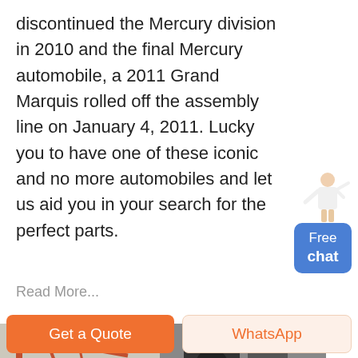discontinued the Mercury division in 2010 and the final Mercury automobile, a 2011 Grand Marquis rolled off the assembly line on January 4, 2011. Lucky you to have one of these iconic and no more automobiles and let us aid you in your search for the perfect parts.
[Figure (illustration): Chat widget showing a person figure and a blue rounded button with text 'Free chat']
Read More...
[Figure (photo): Two side-by-side photos of industrial machinery: left shows orange/red crane or conveyor equipment outdoors, right shows dark industrial crusher or mill equipment indoors]
Get a Quote
WhatsApp